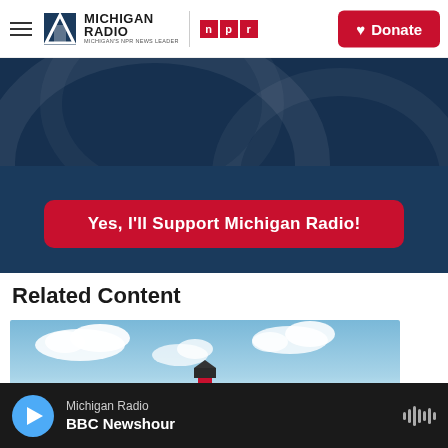Michigan Radio | NPR | Donate
[Figure (other): Dark blue banner with abstract arc shapes and a red CTA button reading 'Yes, I'll Support Michigan Radio!']
Related Content
[Figure (photo): Photo of a red lighthouse against a blue sky with white clouds]
Michigan Radio — BBC Newshour (audio player bar)